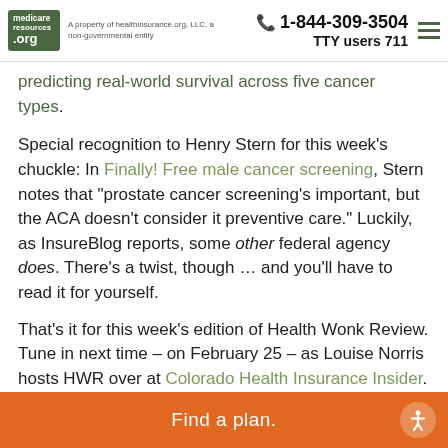medicareresources.org | A property of healthinsurance.org, LLC, a non-governmental entity | 1-844-309-3504 TTY users 711
predicting real-world survival across five cancer types.
Special recognition to Henry Stern for this week's chuckle: In Finally! Free male cancer screening, Stern notes that “prostate cancer screening's important, but the ACA doesn’t consider it preventive care.” Luckily, as InsureBlog reports, some other federal agency does. There’s a twist, though … and you’ll have to read it for yourself.
That’s it for this week’s edition of Health Wonk Review. Tune in next time – on February 25 – as Louise Norris hosts HWR over at Colorado Health Insurance Insider.
Find a plan.